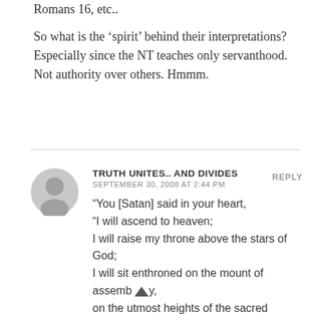Romans 16, etc..
So what is the ‘spirit’ behind their interpretations? Especially since the NT teaches only servanthood. Not authority over others. Hmmm.
TRUTH UNITES.. AND DIVIDES
SEPTEMBER 30, 2008 AT 2:44 PM
“You [Satan] said in your heart,
“I will ascend to heaven;
I will raise my throne above the stars of God;
I will sit enthroned on the mount of assembly,
on the utmost heights of the sacred mountain.